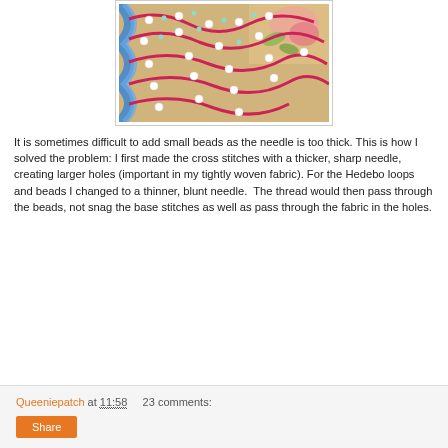[Figure (photo): Close-up photograph of needlework/embroidery showing Hedebo loops and beads with colorful threads including blue, red/pink, and pearl white beads on fabric with floral cross stitch pattern]
It is sometimes difficult to add small beads as the needle is too thick. This is how I solved the problem: I first made the cross stitches with a thicker, sharp needle, creating larger holes (important in my tightly woven fabric). For the Hedebo loops and beads I changed to a thinner, blunt needle.  The thread would then pass through the beads, not snag the base stitches as well as pass through the fabric in the holes.
Queeniepatch at 11:58    23 comments:  Share